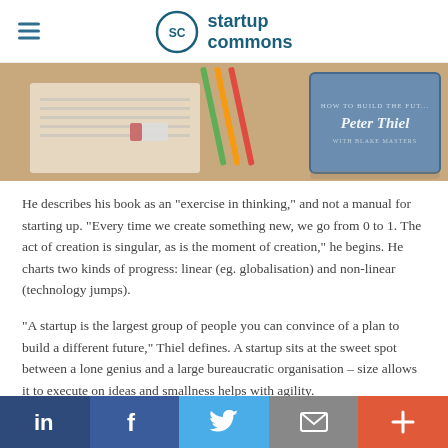startup commons
[Figure (photo): Book photo showing a Peter Thiel book ('Zero to One: How to Build the Future') along with notebooks, pencils, and stationery on a desk.]
He describes his book as an "exercise in thinking," and not a manual for starting up. "Every time we create something new, we go from 0 to 1. The act of creation is singular, as is the moment of creation," he begins. He charts two kinds of progress: linear (eg. globalisation) and non-linear (technology jumps).
"A startup is the largest group of people you can convince of a plan to build a different future," Thiel defines. A startup sits at the sweet spot between a lone genius and a large bureaucratic organisation – size allows it to execute on ideas and smallness helps with agility.
Thiel sets the context for startups by describing lessons learned
in  f  twitter  email  +